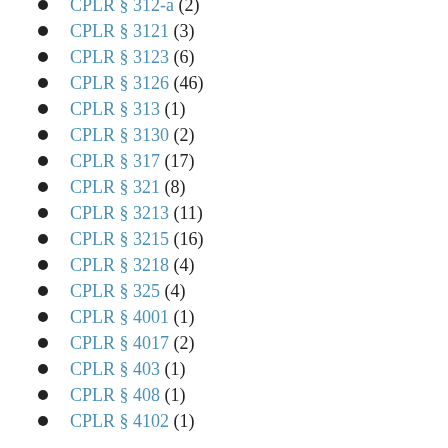CPLR § 312-a (2)
CPLR § 3121 (3)
CPLR § 3123 (6)
CPLR § 3126 (46)
CPLR § 313 (1)
CPLR § 3130 (2)
CPLR § 317 (17)
CPLR § 321 (8)
CPLR § 3213 (11)
CPLR § 3215 (16)
CPLR § 3218 (4)
CPLR § 325 (4)
CPLR § 4001 (1)
CPLR § 4017 (2)
CPLR § 403 (1)
CPLR § 408 (1)
CPLR § 4102 (1)